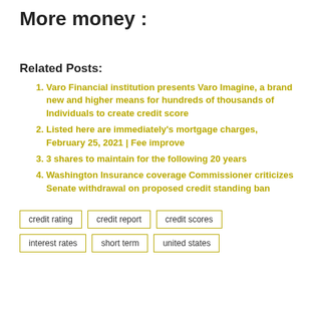More money :
Related Posts:
Varo Financial institution presents Varo Imagine, a brand new and higher means for hundreds of thousands of Individuals to create credit score
Listed here are immediately's mortgage charges, February 25, 2021 | Fee improve
3 shares to maintain for the following 20 years
Washington Insurance coverage Commissioner criticizes Senate withdrawal on proposed credit standing ban
credit rating  credit report  credit scores  interest rates  short term  united states